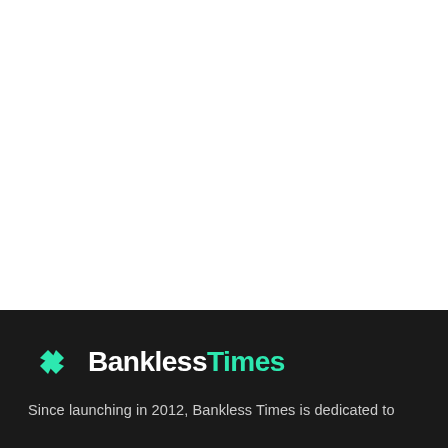[Figure (logo): BanklessTimes logo with teal diamond/arrow icon and wordmark 'Bankless' in white and 'Times' in teal, on a dark background]
Since launching in 2012, Bankless Times is dedicated to